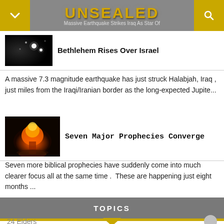UNSEALED — Massive Earthquake Strikes Iraq As Star Of Bethlehem Rises Over Israel
[Figure (photo): Dark night sky with bright star/light points]
Bethlehem Rises Over Israel
A massive 7.3 magnitude earthquake has just struck Halabjah, Iraq , just miles from the Iraqi/Iranian border as the long-expected Jupite...
[Figure (photo): Nuclear explosion mushroom cloud with orange fireball against dark sky]
Seven Major Prophecies Converge
Seven more biblical prophecies have suddenly come into much clearer focus all at the same time .  These are happening just eight months ...
TOPICS
24 Elders